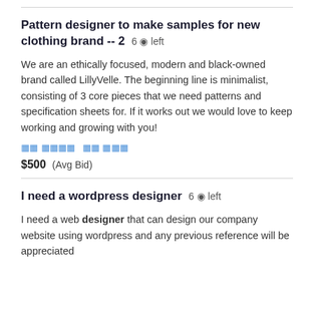6 ◉ left
Pattern designer to make samples for new clothing brand -- 2  6 ◉ left
We are an ethically focused, modern and black-owned brand called LillyVelle. The beginning line is minimalist, consisting of 3 core pieces that we need patterns and specification sheets for. If it works out we would love to keep working and growing with you!
[tags]
$500  (Avg Bid)
I need a wordpress designer  6 ◉ left
I need a web designer that can design our company website using wordpress and any previous reference will be appreciated